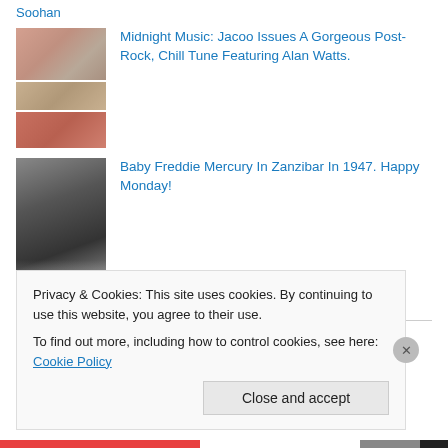Soohan
Midnight Music: Jacoo Issues A Gorgeous Post-Rock, Chill Tune Featuring Alan Watts.
Baby Freddie Mercury In Zanzibar In 1947. Happy Monday!
Check-ch-check-check-check-ch-check it out!
Privacy & Cookies: This site uses cookies. By continuing to use this website, you agree to their use.
To find out more, including how to control cookies, see here: Cookie Policy
Close and accept